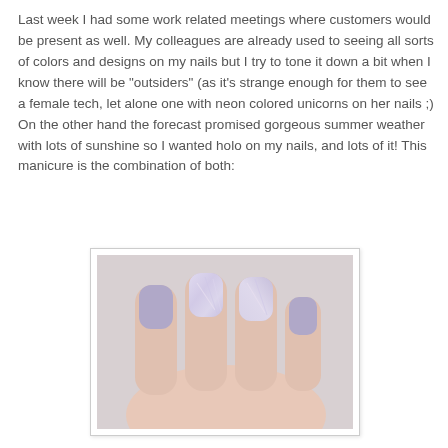Last week I had some work related meetings where customers would be present as well. My colleagues are already used to seeing all sorts of colors and designs on my nails but I try to tone it down a bit when I know there will be "outsiders" (as it's strange enough for them to see a female tech, let alone one with neon colored unicorns on her nails ;) On the other hand the forecast promised gorgeous summer weather with lots of sunshine so I wanted holo on my nails, and lots of it! This manicure is the combination of both:
[Figure (photo): Close-up photo of a hand showing nails painted in a muted lavender/lilac holo color with shimmer/holo effect visible on some nails, against a light grey background.]